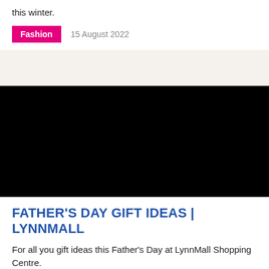this winter.
Fashion   15 August 2022
[Figure (screenshot): Black rectangle representing an embedded video player]
FATHER'S DAY GIFT IDEAS | LYNNMALL
For all you gift ideas this Father's Day at LynnMall Shopping Centre.